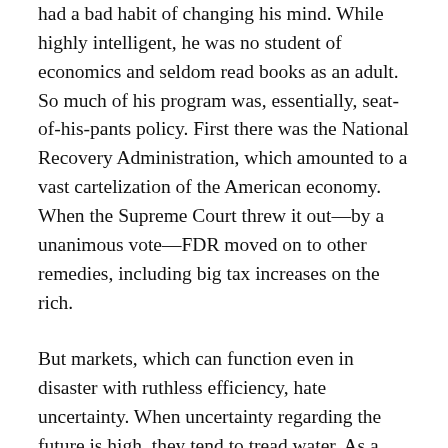had a bad habit of changing his mind. While highly intelligent, he was no student of economics and seldom read books as an adult. So much of his program was, essentially, seat-of-his-pants policy. First there was the National Recovery Administration, which amounted to a vast cartelization of the American economy. When the Supreme Court threw it out—by a unanimous vote—FDR moved on to other remedies, including big tax increases on the rich.
But markets, which can function even in disaster with ruthless efficiency, hate uncertainty. When uncertainty regarding the future is high, they tend to tread water. As a result, there was what is known as a “strike of capital.” While corporations often had large cash balances—General Motors made a profit